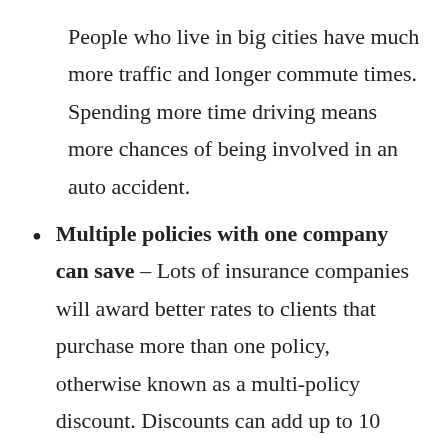People who live in big cities have much more traffic and longer commute times. Spending more time driving means more chances of being involved in an auto accident.
Multiple policies with one company can save – Lots of insurance companies will award better rates to clients that purchase more than one policy, otherwise known as a multi-policy discount. Discounts can add up to 10 percent